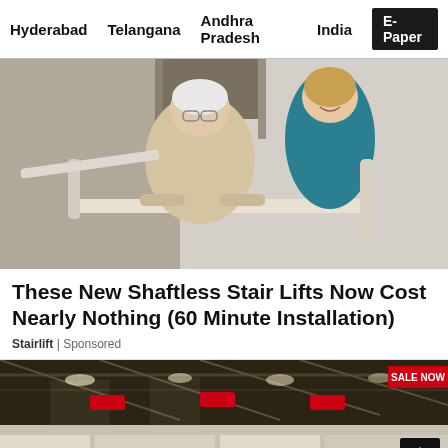Hyderabad   Telangana   Andhra Pradesh   India   E-Paper
[Figure (photo): Elderly woman holding stair lift rail with young woman caregiver behind her in a stairway]
These New Shaftless Stair Lifts Now Cost Nearly Nothing (60 Minute Installation)
Stairlift | Sponsored
[Figure (photo): Interior of large retail warehouse store with red sale banners and display shelves; SALE NOW badge visible top right; scroll-up arrow button overlay]